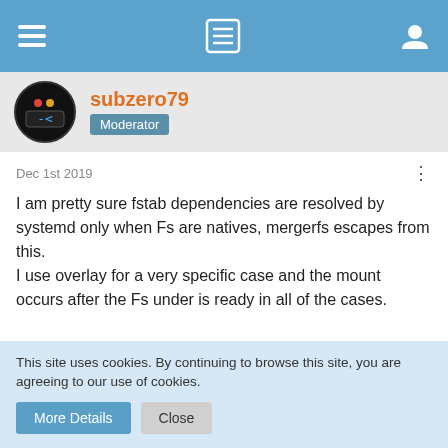Navigation bar with menu, list, and user icons
subzero79 Moderator
Dec 1st 2019
I am pretty sure fstab dependencies are resolved by systemd only when Fs are natives, mergerfs escapes from this.
I use overlay for a very specific case and the mount occurs after the Fs under is ready in all of the cases.

that's also why many sf binds fail when using mergerfs and zfs.
There is always the option to go back to legacy fstab ordering using kernel boot parameter fstab=yes
This site uses cookies. By continuing to browse this site, you are agreeing to our use of cookies.